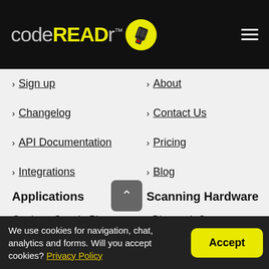[Figure (logo): codeREADr logo with barcode scanner icon on black header background]
> Sign up
> About
> Changelog
> Contact Us
> API Documentation
> Pricing
> Integrations
> Blog
Applications
Scanning Hardware
Get it on Google Play
> Bluetooth Scanners
We use cookies for navigation, chat, analytics and forms. Will you accept cookies? Privacy Policy